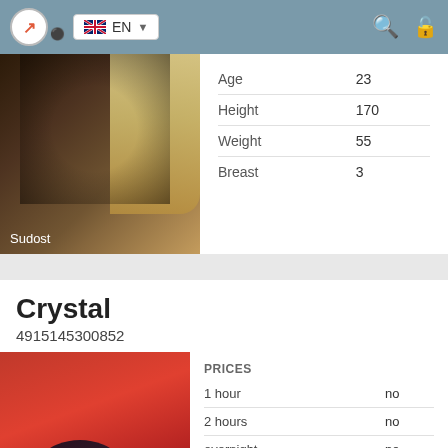EN (language selector, search and lock icons)
[Figure (photo): Photo of a woman in black lace lingerie with blonde hair, labeled 'Sudost']
|  |  |
| --- | --- |
| Age | 23 |
| Height | 170 |
| Weight | 55 |
| Breast | 3 |
Crystal
4915145300852
[Figure (photo): Photo with red background showing dark shoe/heel in foreground]
| PRICES |  |
| --- | --- |
| 1 hour | no |
| 2 hours | no |
| overnight | no |
|  |  |
| --- | --- |
| Age | 19 |
| Height | 166 |
| Weight | 57 |